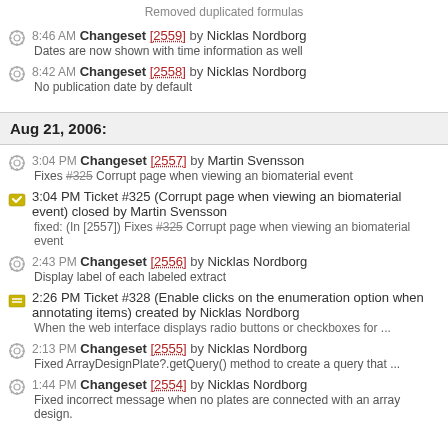Removed duplicated formulas
8:46 AM Changeset [2559] by Nicklas Nordborg — Dates are now shown with time information as well
8:42 AM Changeset [2558] by Nicklas Nordborg — No publication date by default
Aug 21, 2006:
3:04 PM Changeset [2557] by Martin Svensson — Fixes #325 Corrupt page when viewing an biomaterial event
3:04 PM Ticket #325 (Corrupt page when viewing an biomaterial event) closed by Martin Svensson — fixed: (In [2557]) Fixes #325 Corrupt page when viewing an biomaterial event
2:43 PM Changeset [2556] by Nicklas Nordborg — Display label of each labeled extract
2:26 PM Ticket #328 (Enable clicks on the enumeration option when annotating items) created by Nicklas Nordborg — When the web interface displays radio buttons or checkboxes for ...
2:13 PM Changeset [2555] by Nicklas Nordborg — Fixed ArrayDesignPlate?.getQuery() method to create a query that ...
1:44 PM Changeset [2554] by Nicklas Nordborg — Fixed incorrect message when no plates are connected with an array design.